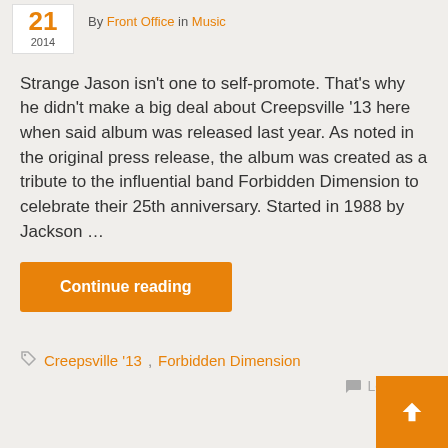21 2014 By Front Office in Music
Strange Jason isn't one to self-promote. That's why he didn't make a big deal about Creepsville '13 here when said album was released last year. As noted in the original press release, the album was created as a tribute to the influential band Forbidden Dimension to celebrate their 25th anniversary. Started in 1988 by Jackson …
Continue reading
Creepsville '13, Forbidden Dimension
Leave com…